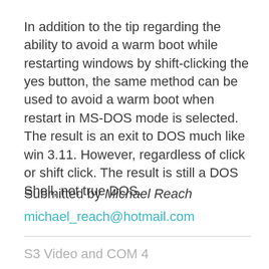In addition to the tip regarding the ability to avoid a warm boot while restarting windows by shift-clicking the yes button, the same method can be used to avoid a warm boot when restart in MS-DOS mode is selected. The result is an exit to DOS much like win 3.11. However, regardless of click or shift click. The result is still a DOS Shell, not true DOS.
Submitted by Michael Reach
michael_reach@hotmail.com
S3 Video and COM 4